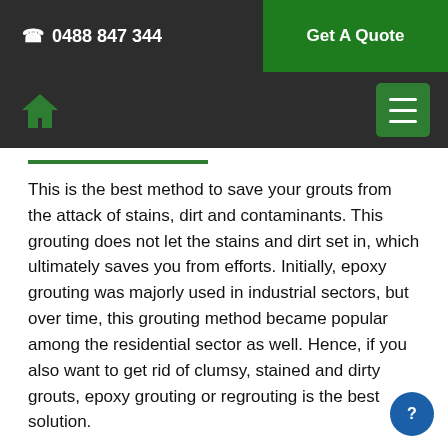☎ 0488 847 344  |  Get A Quote
Home navigation and menu button
This is the best method to save your grouts from the attack of stains, dirt and contaminants. This grouting does not let the stains and dirt set in, which ultimately saves you from efforts. Initially, epoxy grouting was majorly used in industrial sectors, but over time, this grouting method became popular among the residential sector as well. Hence, if you also want to get rid of clumsy, stained and dirty grouts, epoxy grouting or regrouting is the best solution.
Grout Sealing